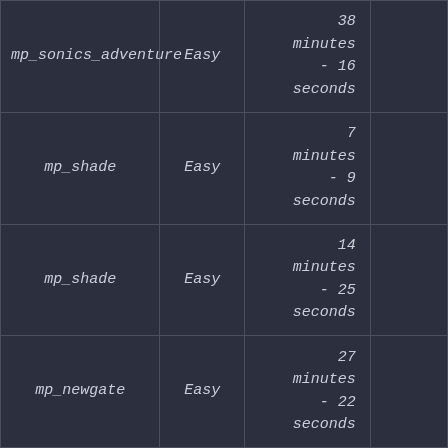| mp_sonics_adventure | Easy | 38 minutes - 16 seconds |  |
| mp_shade | Easy | 7 minutes - 9 seconds |  |
| mp_shade | Easy | 14 minutes - 25 seconds |  |
| mp_newgate | Easy | 27 minutes - 22 seconds |  |